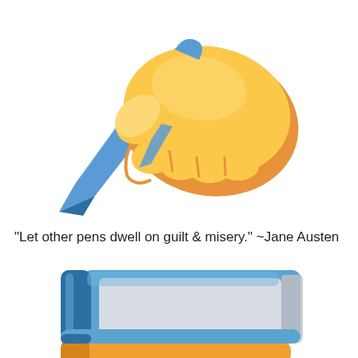[Figure (illustration): Emoji-style illustration of a yellow hand holding a blue pen/pencil, writing. The hand is yellow-orange with an orange shadow/outline, gripping a blue pointed pen tip angled down to the left.]
“Let other pens dwell on guilt & misery.” ~Jane Austen
[Figure (illustration): Emoji-style illustration of a stack of books. The top book is blue with a light gray cover/pages, shown in a 3D perspective. Below it is an orange book partially visible. The binding is dark blue on the left side.]